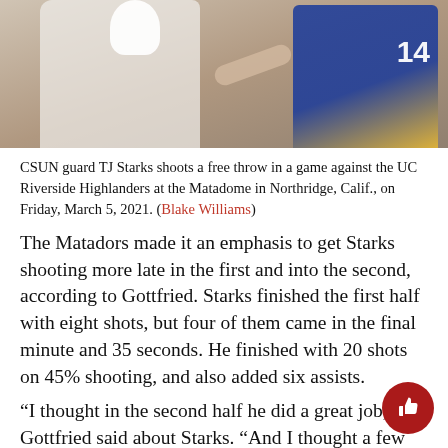[Figure (photo): CSUN guard TJ Starks shooting a free throw in a game against UC Riverside Highlanders, two players visible, one in white and one in blue/yellow jersey with number 14]
CSUN guard TJ Starks shoots a free throw in a game against the UC Riverside Highlanders at the Matadome in Northridge, Calif., on Friday, March 5, 2021. (Blake Williams)
The Matadors made it an emphasis to get Starks shooting more late in the first and into the second, according to Gottfried. Starks finished the first half with eight shots, but four of them came in the final minute and 35 seconds. He finished with 20 shots on 45% shooting, and also added six assists.
“I thought in the second half he did a great job,” Gottfried said about Starks. “And I thought a few times on his shot he got hit on the arm and we were all hunting for some fouls that didn’t get called, but that’s part of the game. He’ll bounce back tomorro…